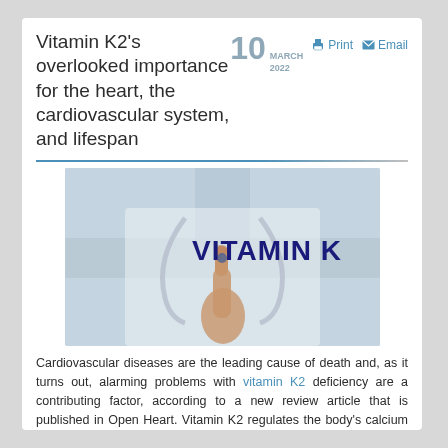Vitamin K2's overlooked importance for the heart, the cardiovascular system, and lifespan
10 MARCH 2022  Print  Email
[Figure (photo): A doctor in a white coat with a stethoscope pointing at the text 'VITAMIN K' displayed in bold dark blue letters on a light background]
Cardiovascular diseases are the leading cause of death and, as it turns out, alarming problems with vitamin K2 deficiency are a contributing factor, according to a new review article that is published in Open Heart. Vitamin K2 regulates the body's calcium distribution and lack of the vitamin increases the risk